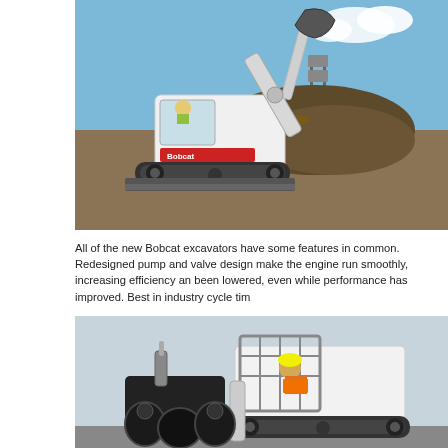[Figure (photo): A white Bobcat mini excavator on a construction/dirt site. Operator visible in cab wearing yellow shirt. Excavator arm raised. Pile of dirt/logs in background, billboard visible on horizon under blue sky.]
All of the new Bobcat excavators have some features in common. Redesigned pump and valve design make the engine run smoothly, increasing efficiency an been lowered, even while performance has improved. Best in industry cycle tim
[Figure (photo): A white Bobcat compact track loader (skid steer) with a grapple/auger attachment. Operator visible in cab wearing orange safety vest and hard hat. Light grey/hazy sky background.]